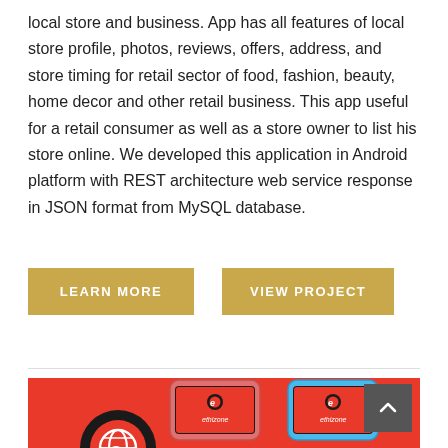local store and business. App has all features of local store profile, photos, reviews, offers, address, and store timing for retail sector of food, fashion, beauty, home decor and other retail business. This app useful for a retail consumer as well as a store owner to list his store online. We developed this application in Android platform with REST architecture web service response in JSON format from MySQL database.
[Figure (screenshot): Two buttons: LEARN MORE (gold/tan background) and VIEW PROJECT (gold/tan background)]
[Figure (screenshot): Red banner with Ethizone logo on left (black circle with stylized 'e' globe icon, white 'ethizone' text below) and two smartphone mockups on the right showing the Ethizone app on their screens, one with a pink/red case and one with a blue case.]